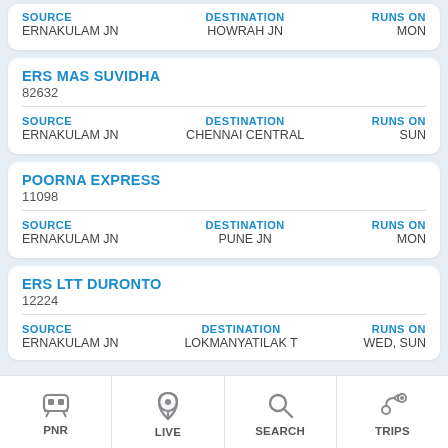| SOURCE | DESTINATION | RUNS ON |
| --- | --- | --- |
| ERNAKULAM JN | HOWRAH JN | MON |
ERS MAS SUVIDHA
82632
| SOURCE | DESTINATION | RUNS ON |
| --- | --- | --- |
| ERNAKULAM JN | CHENNAI CENTRAL | SUN |
POORNA EXPRESS
11098
| SOURCE | DESTINATION | RUNS ON |
| --- | --- | --- |
| ERNAKULAM JN | PUNE JN | MON |
ERS LTT DURONTO
12224
| SOURCE | DESTINATION | RUNS ON |
| --- | --- | --- |
| ERNAKULAM JN | LOKMANYATILAK T | WED, SUN |
PNR | LIVE | SEARCH | TRIPS